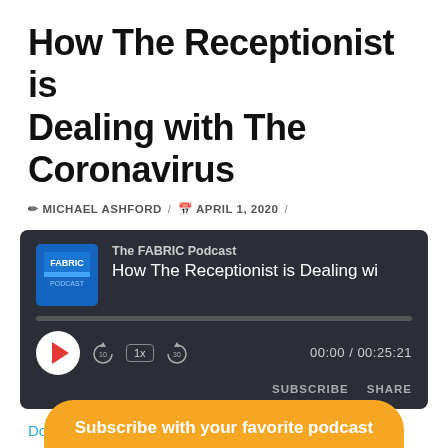How The Receptionist is Dealing with The Coronavirus
✏ MICHAEL ASHFORD / 📅 APRIL 1, 2020 /
[Figure (other): Podcast player widget with dark background. Shows 'The FABRIC Podcast' logo, episode title 'How The Receptionist is Dealing wi', a play button, progress bar, playback controls (rewind 10, 1x speed, forward 30), time display '00:00 / 00:25:21', and SUBSCRIBE / SHARE buttons.]
Download file | Play in new window | Duration: 00:25:21 | Recorded on April 7, 2020
Subscribe with your favorite podcast